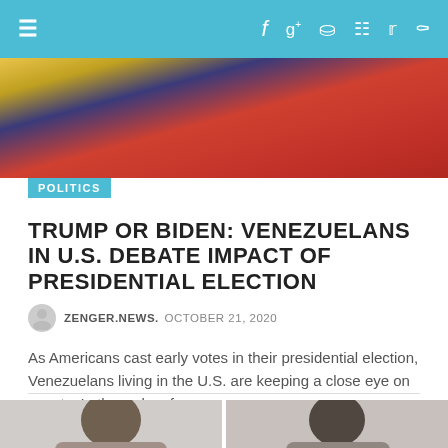Navigation bar with hamburger menu and social icons: f, g+, p, rss, twitter, search
[Figure (photo): Hero image showing a red flag or banner, partially blurred, close-up shot]
POLITICS
TRUMP OR BIDEN: VENEZUELANS IN U.S. DEBATE IMPACT OF PRESIDENTIAL ELECTION
ZENGER.NEWS. OCTOBER 21, 2020
As Americans cast early votes in their presidential election, Venezuelans living in the U.S. are keeping a close eye on events. In the wake of ...
Read more ›
0 Comments
[Figure (photo): Two side-by-side portrait photos of individuals, partially visible at bottom of page]